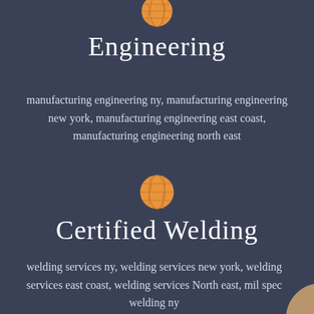[Figure (illustration): Orange globe icon at top center]
Engineering
manufacturing engineering ny, manufacturing engineering new york, manufacturing engineering east coast, manufacturing engineering north east
[Figure (illustration): Orange globe icon in middle center]
Certified Welding
welding services ny, welding services new york, welding services east coast, welding services North east, mil spec welding ny
[Figure (illustration): Partial tan/brown circle at bottom right corner]